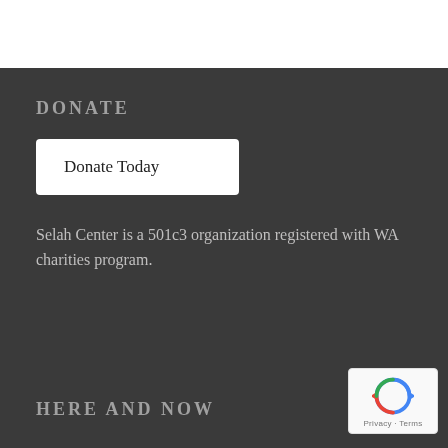DONATE
Donate Today
Selah Center is a 501c3 organization registered with WA charities program.
HERE AND NOW
[Figure (logo): reCAPTCHA badge with Privacy and Terms links]